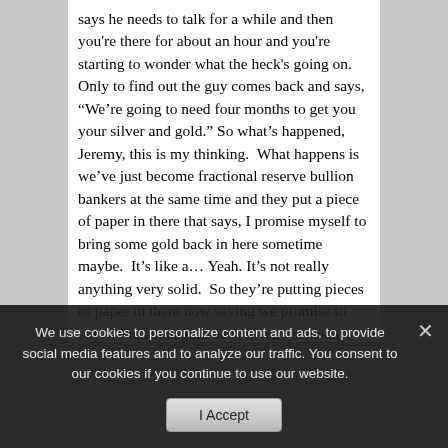says he needs to talk for a while and then you're there for about an hour and you're starting to wonder what the heck's going on. Only to find out the guy comes back and says, “We’re going to need four months to get you your silver and gold.” So what’s happened, Jeremy, this is my thinking. What happens is we’ve just become fractional reserve bullion bankers at the same time and they put a piece of paper in there that says, I promise myself to bring some gold back in here sometime maybe. It’s like a… Yeah. It’s not really anything very solid. So they’re putting pieces of paper in there now saying we promise to pay… Put some gold back in here someday. And their little promissory
We use cookies to personalize content and ads, to provide social media features and to analyze our traffic. You consent to our cookies if you continue to use our website.